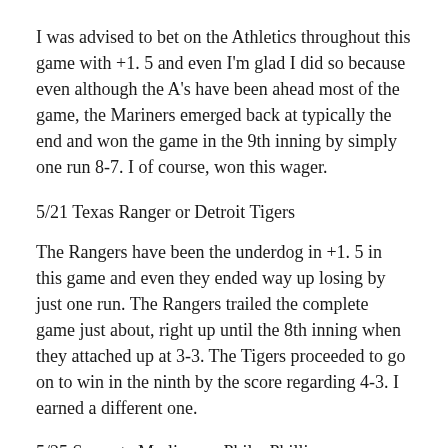I was advised to bet on the Athletics throughout this game with +1. 5 and even I'm glad I did so because even although the A's have been ahead most of the game, the Mariners emerged back at typically the end and won the game in the 9th inning by simply one run 8-7. I of course, won this wager.
5/21 Texas Ranger or Detroit Tigers
The Rangers have been the underdog in +1. 5 in this game and even they ended way up losing by just one run. The Rangers trailed the complete game just about, right up until the 8th inning when they attached up at 3-3. The Tigers proceeded to go on to win in the ninth by the score regarding 4-3. I earned a different one.
5/25 Sarasota Marlins vs. Phila. Phillies